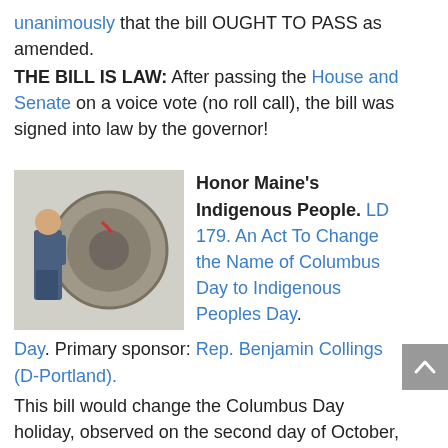unanimously that the bill OUGHT TO PASS as amended.
THE BILL IS LAW: After passing the House and Senate on a voice vote (no roll call), the bill was signed into law by the governor!
[Figure (photo): Photo of a person standing next to a large industrial spool or drum]
Honor Maine's Indigenous People. LD 179. An Act To Change the Name of Columbus Day to Indigenous Peoples Day. Primary sponsor: Rep. Benjamin Collings (D-Portland).
This bill would change the Columbus Day holiday, observed on the second day of October, to Indigenous Peoples Day. Proponents of the change, including Penobscot Nation tribal leaders, note that Christopher Columbus did not discover America (and in fact, never came to North America at all) and that a holiday celebrating someone who enslaved and